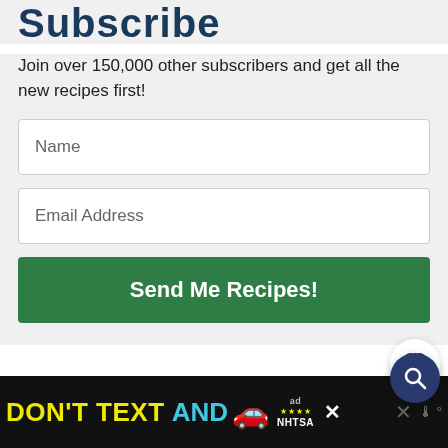Subscribe
Join over 150,000 other subscribers and get all the new recipes first!
Name
Email Address
Send Me Recipes!
Leave a comment & rating
Have you checked the FAQ section above to see if your question is already answered?
[Figure (screenshot): Advertisement banner: DON'T TEXT AND [car emoji] with ad label and NHTSA logo, close button X]
[Figure (other): Heart icon button (white circle with heart outline)]
[Figure (other): Search icon button (dark blue circle with magnifying glass)]